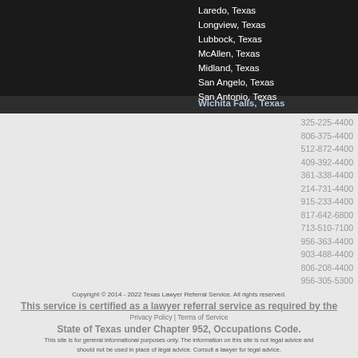Laredo, Texas
Longview, Texas
Lubbock, Texas
McAllen, Texas
Midland, Texas
San Angelo, Texas
San Antonio, Texas
Wichita Falls, Texas
325-225-4400
806-375-4400
512-872-4400
409-392-4400
361-338-4400
214-731-4400
915-233-4400
817-642-6800
713-510-7100
956-363-4400
903-488-4400
806-208-4400
956-305-5300
432-348-4400
325-208-4400
210-585-4400
940-245-4400
Copyright © 2014 - 2022 Texas Lawyer Referral Service. All rights reserved. This service is certified as a lawyer referral service as required by the State of Texas under Chapter 952, Occupations Code. Privacy Policy | Terms of Service. This site is for general informational purposes only. The information on this site is not legal advice and should not be used in place of legal advice. Consult a lawyer for legal advice.